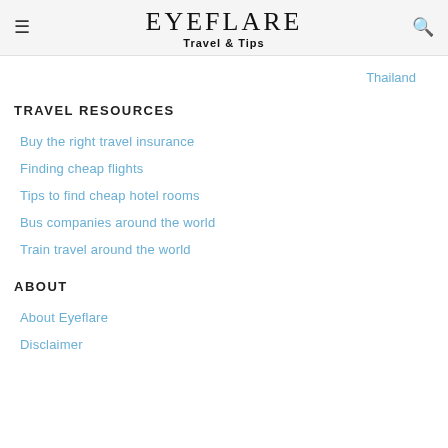EYEFLARE Travel & Tips
Thailand
TRAVEL RESOURCES
Buy the right travel insurance
Finding cheap flights
Tips to find cheap hotel rooms
Bus companies around the world
Train travel around the world
ABOUT
About Eyeflare
Disclaimer